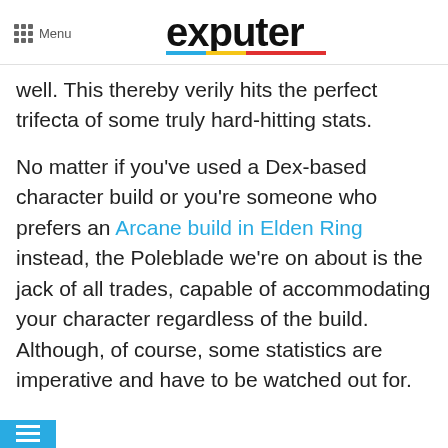Menu | exputer
well. This thereby verily hits the perfect trifecta of some truly hard-hitting stats.
No matter if you've used a Dex-based character build or you're someone who prefers an Arcane build in Elden Ring instead, the Poleblade we're on about is the jack of all trades, capable of accommodating your character regardless of the build. Although, of course, some statistics are imperative and have to be watched out for.